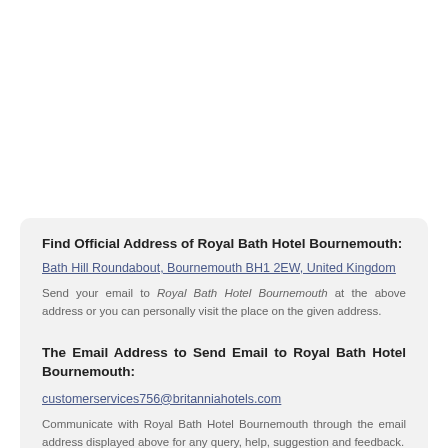Find Official Address of Royal Bath Hotel Bournemouth:
Bath Hill Roundabout, Bournemouth BH1 2EW, United Kingdom
Send your email to Royal Bath Hotel Bournemouth at the above address or you can personally visit the place on the given address.
The Email Address to Send Email to Royal Bath Hotel Bournemouth:
customerservices756@britanniahotels.com
Communicate with Royal Bath Hotel Bournemouth through the email address displayed above for any query, help, suggestion and feedback.
Call Royal Bath Hotel Bournemouth on the Helpline Number: